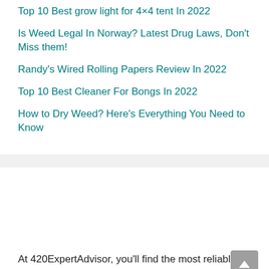Top 10 Best grow light for 4×4 tent In 2022
Is Weed Legal In Norway? Latest Drug Laws, Don't Miss them!
Randy's Wired Rolling Papers Review In 2022
Top 10 Best Cleaner For Bongs In 2022
How to Dry Weed? Here's Everything You Need to Know
At 420ExpertAdvisor, you'll find the most reliable and honest reviews of marijuana strains, seed banks around the globe, and much